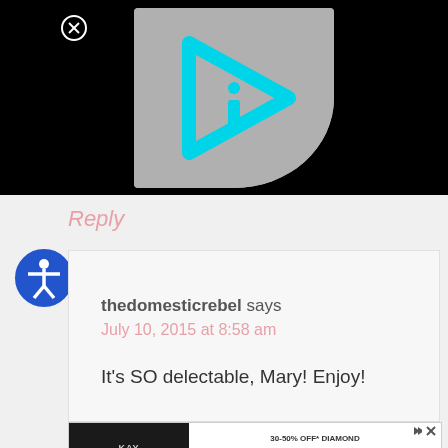[Figure (screenshot): Black background with a gray rounded square thumbnail showing a cyan/teal play button arrow with an 'i' information icon inside it, resembling a video preview. A close (X) button in a circle appears at top-left of the black area.]
Reply
[Figure (logo): Blue circular accessibility icon showing a person figure with arms outstretched inside a circle]
thedomesticrebel says
July 10, 2015 at 8:58 am
It's SO delectable, Mary! Enjoy!
[Figure (screenshot): Kay Jewelers advertisement banner: photo of couple on left, text '30-50% OFF* DIAMOND FASHION JEWELRY' and black 'Shop Now' button on right, with small arrow and X icons at top right]